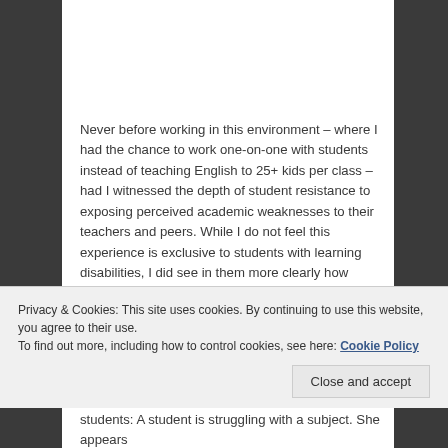Never before working in this environment – where I had the chance to work one-on-one with students instead of teaching English to 25+ kids per class – had I witnessed the depth of student resistance to exposing perceived academic weaknesses to their teachers and peers. While I do not feel this experience is exclusive to students with learning disabilities, I did see in them more clearly how beaten down we can be when our hardest work does not yield results that in any way mirror the level of effort we put into them, and how stubborn that innate need for self-
Privacy & Cookies: This site uses cookies. By continuing to use this website, you agree to their use.
To find out more, including how to control cookies, see here: Cookie Policy
students: A student is struggling with a subject. She appears